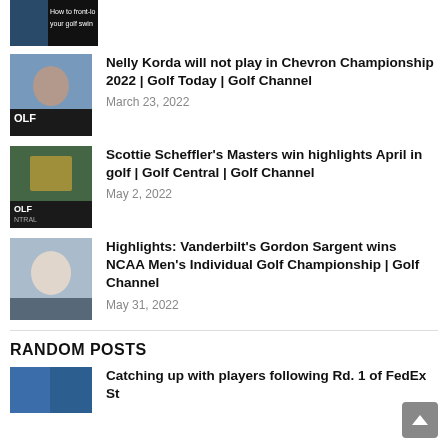[Figure (screenshot): Partial thumbnail at top: dark background with golf swing tutorial text]
[Figure (photo): Thumbnail of Nelly Korda swinging golf club, OLF logo overlay]
Nelly Korda will not play in Chevron Championship 2022 | Golf Today | Golf Channel
March 23, 2022
[Figure (photo): Thumbnail of Scottie Scheffler holding Masters trophy in green jacket, Golf Central logo]
Scottie Scheffler's Masters win highlights April in golf | Golf Central | Golf Channel
May 2, 2022
[Figure (photo): Thumbnail of Gordon Sargent holding NCAA trophy outdoors]
Highlights: Vanderbilt's Gordon Sargent wins NCAA Men's Individual Golf Championship | Golf Channel
May 31, 2022
RANDOM POSTS
[Figure (photo): Partial thumbnail for FedEx St article]
Catching up with players following Rd. 1 of FedEx St